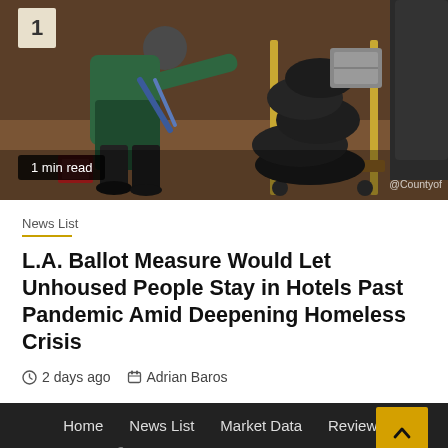[Figure (photo): A person in a green jacket kneeling near luggage on a cart with black bags piled high, in what appears to be a hotel or venue. A label reading '@Countyof' is partially visible in the bottom right.]
1 min read
News List
L.A. Ballot Measure Would Let Unhoused People Stay in Hotels Past Pandemic Amid Deepening Homeless Crisis
2 days ago  Adrian Baros
Home  News List  Market Data  Reviews
Copyright © All rights reserved. | Newsphere by AF themes.